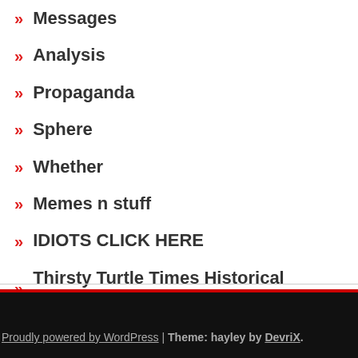Messages
Analysis
Propaganda
Sphere
Whether
Memes n stuff
IDIOTS CLICK HERE
Thirsty Turtle Times Historical Archives
Proudly powered by WordPress | Theme: hayley by DevriX.